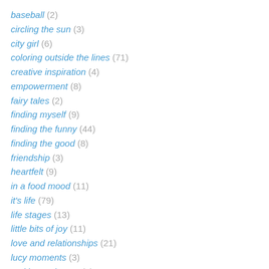baseball (2)
circling the sun (3)
city girl (6)
coloring outside the lines (71)
creative inspiration (4)
empowerment (8)
fairy tales (2)
finding myself (9)
finding the funny (44)
finding the good (8)
friendship (3)
heartfelt (9)
in a food mood (11)
it's life (79)
life stages (13)
little bits of joy (11)
love and relationships (21)
lucy moments (3)
making a change (1)
making a difference (1)